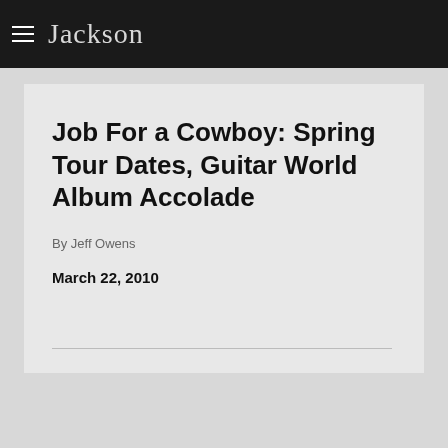Jackson
Job For a Cowboy: Spring Tour Dates, Guitar World Album Accolade
By Jeff Owens
March 22, 2010